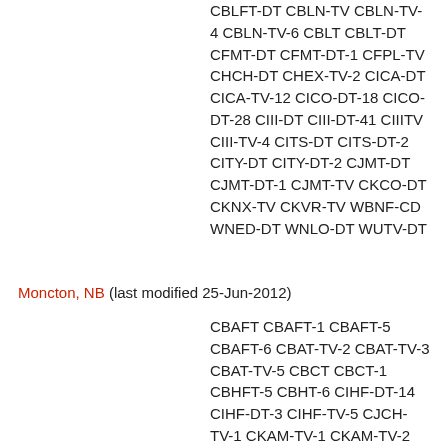CBLFT-DT CBLN-TV CBLN-TV-4 CBLN-TV-6 CBLT CBLT-DT CFMT-DT CFMT-DT-1 CFPL-TV CHCH-DT CHEX-TV-2 CICA-DT CICA-TV-12 CICO-DT-18 CICO-DT-28 CIII-DT CIII-DT-41 CIIITV CIII-TV-4 CITS-DT CITS-DT-2 CITY-DT CITY-DT-2 CJMT-DT CJMT-DT-1 CJMT-TV CKCO-DT CKNX-TV CKVR-TV WBNF-CD WNED-DT WNLO-DT WUTV-DT
Moncton, NB (last modified 25-Jun-2012)
CBAFT CBAFT-1 CBAFT-5 CBAFT-6 CBAT-TV-2 CBAT-TV-3 CBAT-TV-5 CBCT CBCT-1 CBHFT-5 CBHT-6 CIHF-DT-14 CIHF-DT-3 CIHF-TV-5 CJCH-TV-1 CKAM-TV-1 CKAM-TV-2